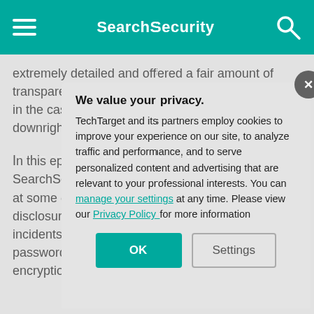SearchSecurity
extremely detailed and offered a fair amount of transparency, whereas others were lackluster and, in the case of ToonDoo's breach disclosure, downright strange.
In this episode of the Risk & Repeat podcast, SearchSecurity editors take a look at some of the big data breaches and disclosures, and some of the more notable incidents. Some we look at password policies and encryption proto
We value your privacy.
TechTarget and its partners employ cookies to improve your experience on our site, to analyze traffic and performance, and to serve personalized content and advertising that are relevant to your professional interests. You can manage your settings at any time. Please view our Privacy Policy for more information